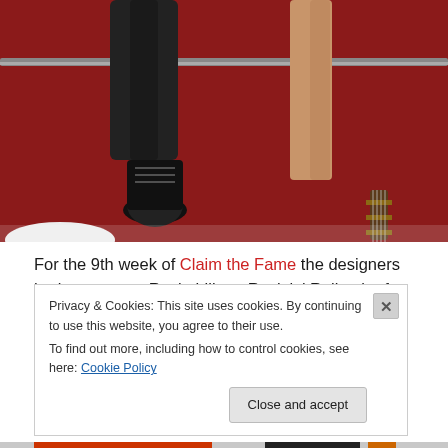[Figure (photo): Screenshot of a 3D rendered scene with two figures: one in black pants and black Converse sneakers standing against a red background with a metal railing, another with bare legs; bottom-right shows what appears to be a guitar neck.]
For the 9th week of Claim the Fame the designers had to create a Rockabilly or Rock 'n' Roll attire for male and female and make a description that was read during the TV show on Metaverse TV.
(http://metaversetv.com/blog/2011/06/claim-the-fame-9/)
Privacy & Cookies: This site uses cookies. By continuing to use this website, you agree to their use.
To find out more, including how to control cookies, see here: Cookie Policy
Close and accept